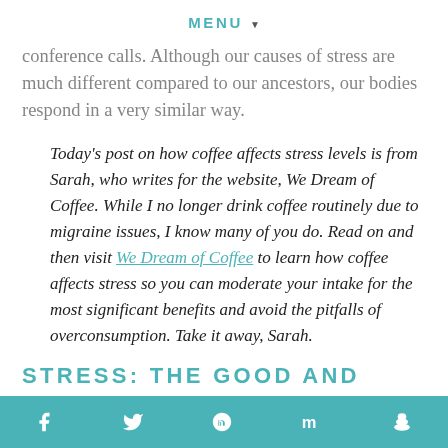MENU ▾
conference calls. Although our causes of stress are much different compared to our ancestors, our bodies respond in a very similar way.
Today's post on how coffee affects stress levels is from Sarah, who writes for the website, We Dream of Coffee. While I no longer drink coffee routinely due to migraine issues, I know many of you do. Read on and then visit We Dream of Coffee to learn how coffee affects stress so you can moderate your intake for the most significant benefits and avoid the pitfalls of overconsumption. Take it away, Sarah.
STRESS: THE GOOD AND
f  t  p  m  layers